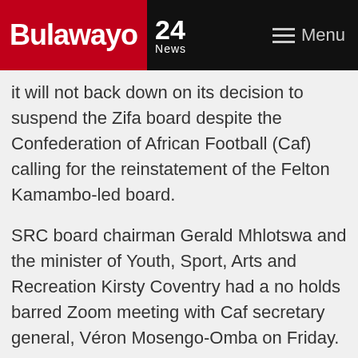Bulawayo 24 News | Menu
it will not back down on its decision to suspend the Zifa board despite the Confederation of African Football (Caf) calling for the reinstatement of the Felton Kamambo-led board.
SRC board chairman Gerald Mhlotswa and the minister of Youth, Sport, Arts and Recreation Kirsty Coventry had a no holds barred Zoom meeting with Caf secretary general, Véron Mosengo-Omba on Friday.